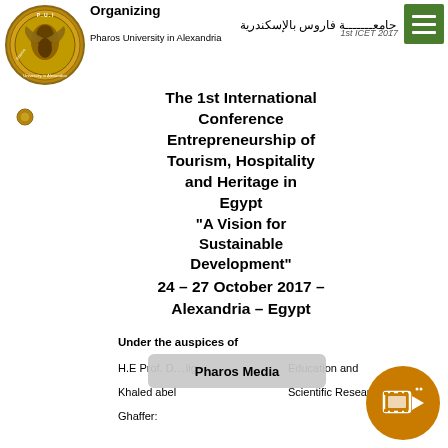Organizing جامعة فاروس بالإسكندرية 1st ICET 2017 Pharos University in Alexandria
[Figure (logo): Pharos University in Alexandria circular logo/seal]
The 1st International Conference Entrepreneurship of Tourism, Hospitality and Heritage in Egypt "A Vision for Sustainable Development" 24 – 27 October 2017 – Alexandria – Egypt
Under the auspices of
H.E Prof. D... lig
Khaled abel    Education and
Ghaffer:        Scientific Research